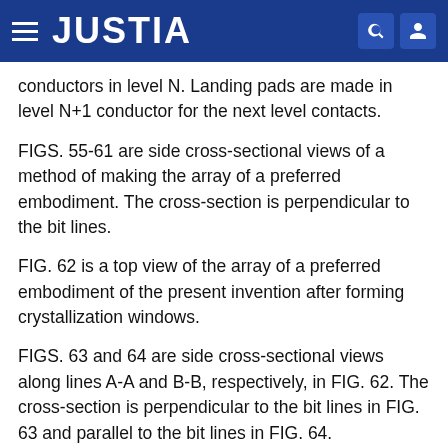JUSTIA
conductors in level N. Landing pads are made in level N+1 conductor for the next level contacts.
FIGS. 55-61 are side cross-sectional views of a method of making the array of a preferred embodiment. The cross-section is perpendicular to the bit lines.
FIG. 62 is a top view of the array of a preferred embodiment of the present invention after forming crystallization windows.
FIGS. 63 and 64 are side cross-sectional views along lines A-A and B-B, respectively, in FIG. 62. The cross-section is perpendicular to the bit lines in FIG. 63 and parallel to the bit lines in FIG. 64.
FIG. 65 is a top view of the array of a preferred embodiment after the crystallization of the active layer.